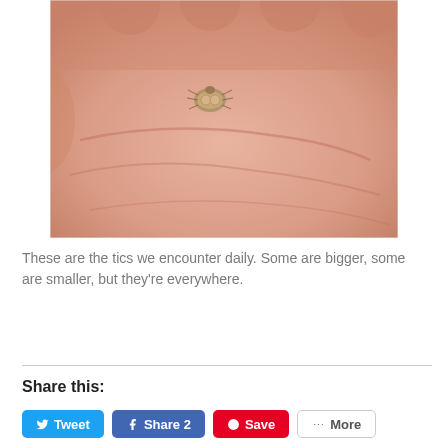[Figure (photo): A close-up photograph of a person's open palm holding a small tick (arachnid). The tick is small, brownish-tan in color, and is sitting in the center of the palm. The skin shows detailed palm lines.]
These are the tics we encounter daily. Some are bigger, some are smaller, but they're everywhere.
Share this: